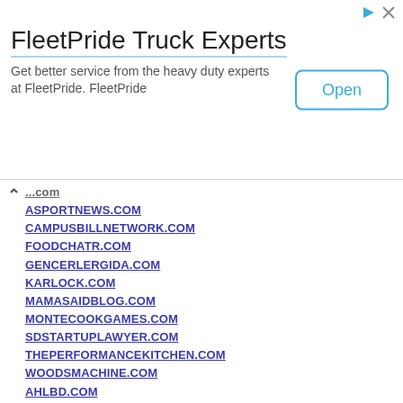[Figure (other): FleetPride Truck Experts advertisement banner with Open button]
ASPORTNEWS.COM
CAMPUSBILLNETWORK.COM
FOODCHATR.COM
GENCERLERGIDA.COM
KARLOCK.COM
MAMASAIDBLOG.COM
MONTECOOKGAMES.COM
SDSTARTUPLAWYER.COM
THEPERFORMANCEKITCHEN.COM
WOODSMACHINE.COM
AHLBD.COM
MAYIBORROWYOURPEN.COM
GETLAUD.COM
VLATINENTERTAINMENT.COM
POSTTESTSERVER.COM
SOPRAVALTESORPRENDE.COM
ABUNDANTLIFEMD.ORG
COMMUNITYFUNDERS.ORG
DYLANMCCULLOCH.COM
FUTUREHEALTHINSTITUTE.COM
ONCHESTNUTRIDGE.COM
ROYALEXCHANGEHOTEL.COM
ARCANAEVOL...
CFO-ACCOUNT...
FOXTAILMEDIA...
HSV-50-JAHRE...
KINGSTONREA...
MELISAWEBS...
PEEKABABYBO...
SPLITRAILWIN...
888BROWNDA...
DROZD.ORG
SALSACLASSV...
MELANIECONS...
THEDAILYROT...
CONTRACTOR...
REVISTAHEY.C...
TAHOOTI.COM...
ADOREBYCHL...
IPNeighbor.com Domain and Content for Sale. Make Offer. Click Here for Info